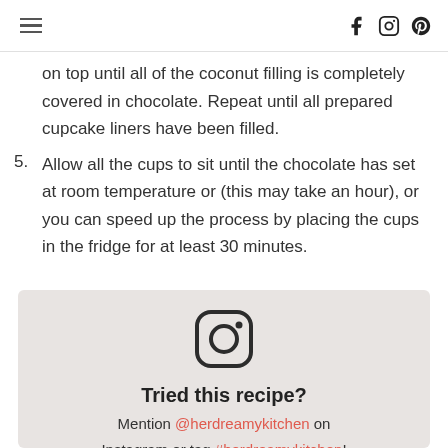[hamburger menu] [social icons: Facebook, Instagram, Pinterest]
on top until all of the coconut filling is completely covered in chocolate. Repeat until all prepared cupcake liners have been filled.
5. Allow all the cups to sit until the chocolate has set at room temperature or (this may take an hour), or you can speed up the process by placing the cups in the fridge for at least 30 minutes.
[Figure (logo): Instagram camera icon logo in dark gray]
Tried this recipe? Mention @herdreamykitchen on Instagram or tag #herdreamykitchen!